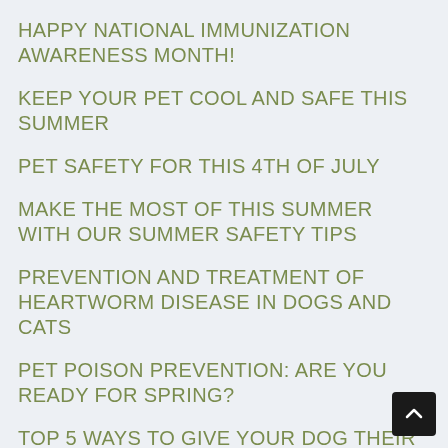HAPPY NATIONAL IMMUNIZATION AWARENESS MONTH!
KEEP YOUR PET COOL AND SAFE THIS SUMMER
PET SAFETY FOR THIS 4TH OF JULY
MAKE THE MOST OF THIS SUMMER WITH OUR SUMMER SAFETY TIPS
PREVENTION AND TREATMENT OF HEARTWORM DISEASE IN DOGS AND CATS
PET POISON PREVENTION: ARE YOU READY FOR SPRING?
TOP 5 WAYS TO GIVE YOUR DOG THEIR BEST LIFE! (*HINT: PAY SPECIAL ATTENTION TO #5!)
A NEW YEAR EQUALS NEW OPPORTUNITIES TO BE A GREAT PET OWNER!